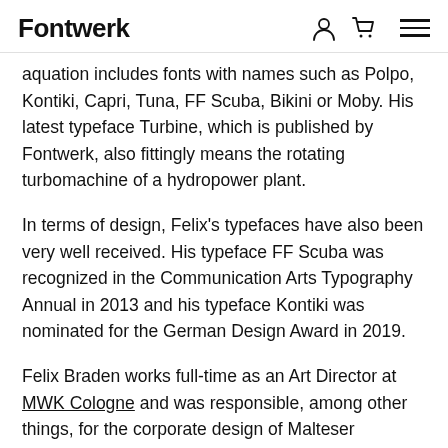Fontwerk
aquation includes fonts with names such as Polpo, Kontiki, Capri, Tuna, FF Scuba, Bikini or Moby. His latest typeface Turbine, which is published by Fontwerk, also fittingly means the rotating turbomachine of a hydropower plant.
In terms of design, Felix's typefaces have also been very well received. His typeface FF Scuba was recognized in the Communication Arts Typography Annual in 2013 and his typeface Kontiki was nominated for the German Design Award in 2019.
Felix Braden works full-time as an Art Director at MWK Cologne and was responsible, among other things, for the corporate design of Malteser International and the logo design of the Romano Germanic Museum. Previously, he co-founded Glashaus Design and worked with Jens Gehlaar at